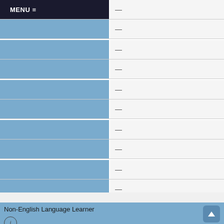|  |  |
| --- | --- |
| MENU ≡ | — |
|  | — |
|  | — |
|  | — |
|  | — |
|  | — |
|  | — |
|  | — |
|  | — |
|  | — |
Non-English Language Learner
|  |  |
| --- | --- |
|  | 1 |